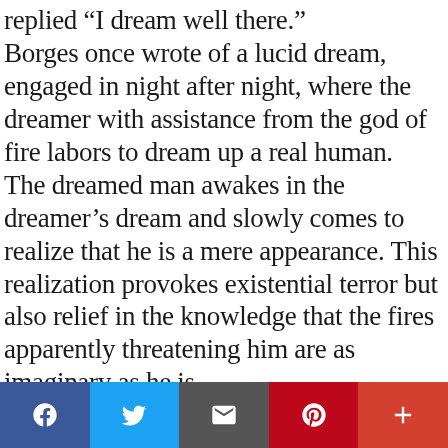replied “I dream well there.” Borges once wrote of a lucid dream, engaged in night after night, where the dreamer with assistance from the god of fire labors to dream up a real human.  The dreamed man awakes in the dreamer’s dream and slowly comes to realize that he is a mere appearance. This realization provokes existential terror but also relief in the knowledge that the fires apparently threatening him are as imaginary as he is. Did Dr. Alberto G. Garcia ever meet or hear Jorge Luis Borges when he was in Austin? Dr. Garcia loved Spanish literature.  In his Austin newspaper La Vanguardia, the Mexican immigrant
[Figure (other): Social sharing toolbar with buttons for Facebook, Twitter, Email, Pinterest, and a plus/more button]